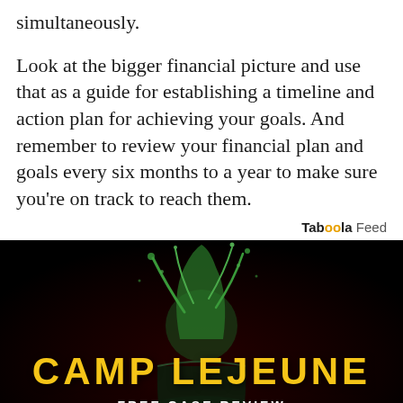simultaneously.
Look at the bigger financial picture and use that as a guide for establishing a timeline and action plan for achieving your goals. And remember to review your financial plan and goals every six months to a year to make sure you're on track to reach them.
Taboola Feed
[Figure (photo): Dark advertisement image with a green mortar and pestle splash effect. Text reads 'CAMP LEJEUNE' in large yellow letters, 'FREE CASE REVIEW' below, and 'For those who were exposed to the water in' at the bottom.]